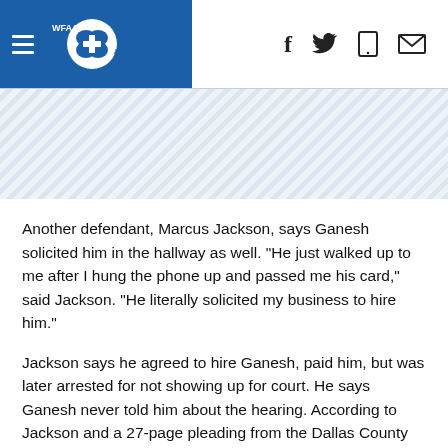WFAA abc — navigation header with hamburger menu and social icons
[Figure (other): Diagonal striped decorative banner area]
Another defendant, Marcus Jackson, says Ganesh solicited him in the hallway as well. "He just walked up to me after I hung the phone up and passed me his card," said Jackson. "He literally solicited my business to hire him."
Jackson says he agreed to hire Ganesh, paid him, but was later arrested for not showing up for court. He says Ganesh never told him about the hearing. According to Jackson and a 27-page pleading from the Dallas County District Attorney, Jackson was thrown in jail for 5 days for "failure to appear". "I literally put money in his pocket for nothing," said Jackson. "That's money I could be paying to another lawyer proving my innocence with somebody who is going to help